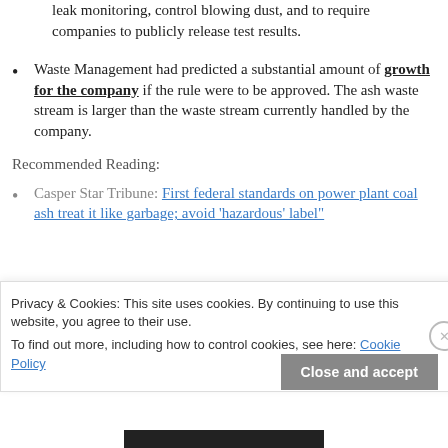leak monitoring, control blowing dust, and to require companies to publicly release test results.
Waste Management had predicted a substantial amount of growth for the company if the rule were to be approved. The ash waste stream is larger than the waste stream currently handled by the company.
Recommended Reading:
Casper Star Tribune: First federal standards on power plant coal ash treat it like garbage; avoid 'hazardous' label"
Privacy & Cookies: This site uses cookies. By continuing to use this website, you agree to their use.
To find out more, including how to control cookies, see here: Cookie Policy
Close and accept